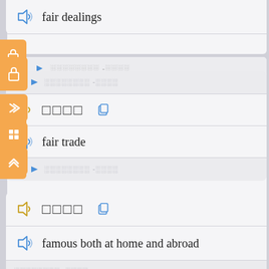[Figure (screenshot): Dictionary/flashcard app UI showing vocabulary entries with audio icons, foreign language text placeholders, and English translations: 'fair dealings', 'fair trade', 'famous both at home and abroad'. Side navigation tabs with lock, forward, grid, and chevron icons.]